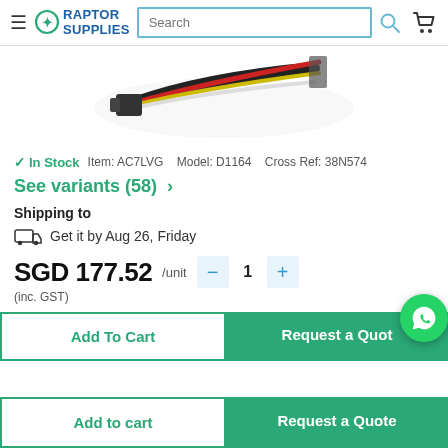Raptor Supplies — Search bar — Cart
[Figure (photo): Product photo of a wire/cable harness with multiple colored wires (black, red, yellow, white) bundled together with a connector]
✓ In Stock   Item: AC7LVG   Model: D1164   Cross Ref: 38N574
See variants (58) ›
Shipping to
🚚 Get it by Aug 26, Friday
SGD 177.52 /unit   — 1 +
(inc. GST)
Add To Cart
Request a Quote
Add to cart
Request a Quote